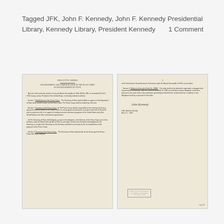Tagged JFK, John F. Kennedy, John F. Kennedy Presidential Library, Kennedy Library, President Kennedy      1 Comment
[Figure (photo): Two scanned pages of an Executive Order document regarding Establishment and Administration of the Peace Corps in the Department of State, signed by President Kennedy, with a stamp and page number '1 of 2 8' visible.]